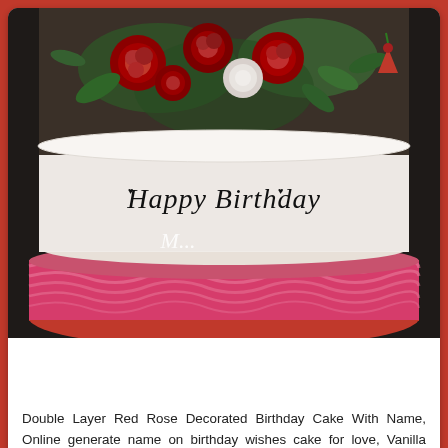[Figure (photo): A double-layer birthday cake with white frosting decorated with red roses and green foliage on top, and pink layered frosting on the bottom tier. Text 'Happy Birthday' is written on the white middle portion of the cake in black script font.]
Double Layer Red Rose Decorated Birthday Cake With Name, Online generate name on birthday wishes cake for love, Vanilla flavor birthday cake with name on it, Double layer birthday cake with red rose for love, Double layer vanilla flavor cake with name edit...
Birthday Name Greetings
Birthday Cake For Brother
Birthday Cake For Father